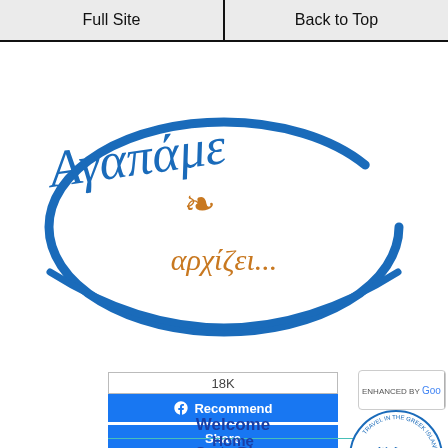Full Site | Back to Top
[Figure (logo): Greek website logo with cursive text 'Αγαπώ' in blue script, decorative fleur-de-lis in orange/gold, and Greek text 'αρχίζει...' in orange, inside a blue circular brush stroke]
[Figure (other): Facebook widget showing 18K likes with Recommend and Share buttons in blue]
[Figure (other): Google enhanced search box with search icon]
Welcome
Home
Crete Blog
Travel
Crete Travel
[Figure (logo): We Love Crete circular logo with text 'Travel in the Greek Islands' around the border, 'We Love Crete' in blue cursive script with orange fleur-de-lis]